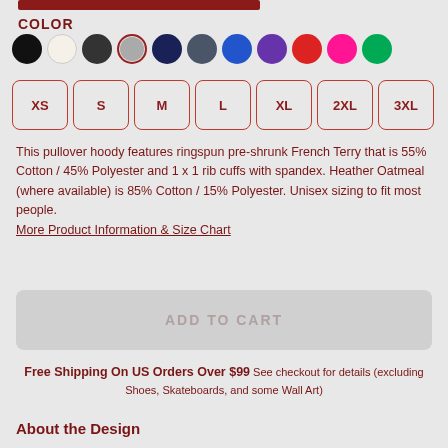COLOR
[Figure (illustration): Color swatches: black, cream/white, dark charcoal, gray (selected with red ring), navy, slate/dark gray, royal blue, purple, red, pink/hot pink, green]
XS
S
M
L
XL
2XL
3XL
This pullover hoody features ringspun pre-shrunk French Terry that is 55% Cotton / 45% Polyester and 1 x 1 rib cuffs with spandex. Heather Oatmeal (where available) is 85% Cotton / 15% Polyester. Unisex sizing to fit most people. More Product Information & Size Chart
ADD TO CART
Free Shipping On US Orders Over $99 See checkout for details (excluding Shoes, Skateboards, and some Wall Art)
About the Design